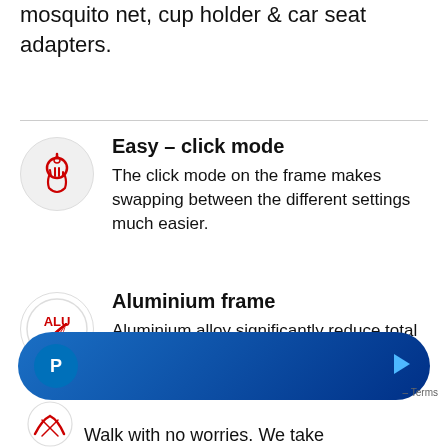mosquito net, cup holder & car seat adapters.
Easy – click mode
The click mode on the frame makes swapping between the different settings much easier.
Aluminium frame
Aluminium alloy significantly reduce total weight and makes stroller unnusualy light-weighted and easy to drive.
[Figure (other): PayPal payment bar with logo and arrow]
Walk with no worries. We take